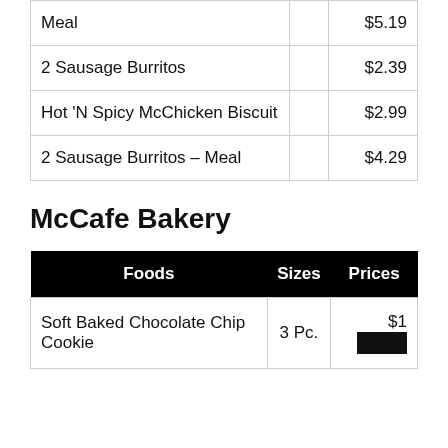| Foods | Sizes | Prices |
| --- | --- | --- |
| Meal |  | $5.19 |
| 2 Sausage Burritos |  | $2.39 |
| Hot 'N Spicy McChicken Biscuit |  | $2.99 |
| 2 Sausage Burritos – Meal |  | $4.29 |
McCafe Bakery
| Foods | Sizes | Prices |
| --- | --- | --- |
| Soft Baked Chocolate Chip Cookie | 3 Pc. | $1[redacted] |